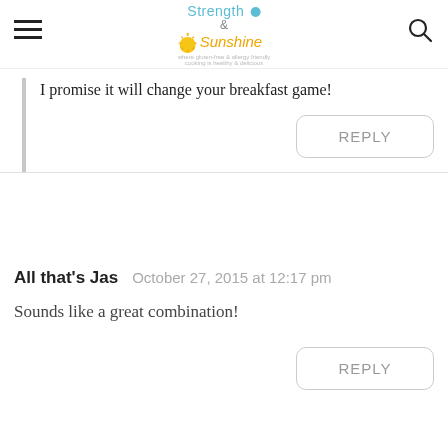Strength & Sunshine
I promise it will change your breakfast game!
REPLY
All that's Jas  October 27, 2015 at 12:17 pm
Sounds like a great combination!
REPLY